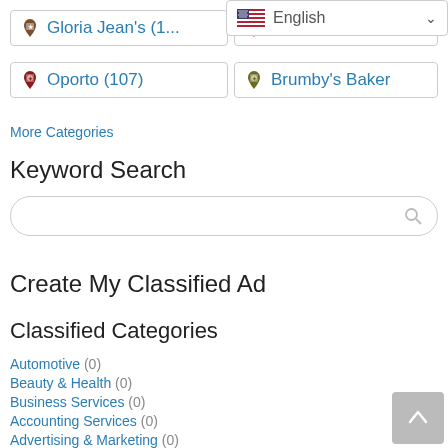[Figure (screenshot): Language selector dropdown showing US flag and 'English' text with chevron]
Gloria Jean's (1... [truncated]
Crust Gourmet [truncated]
Oporto (107)
Brumby's Baker [truncated]
More Categories
Keyword Search
Create My Classified Ad
Classified Categories
Automotive (0)
Beauty & Health (0)
Business Services (0)
Accounting Services (0)
Advertising & Marketing (0)
Finance & Insurance (0)
Legal Services (0)